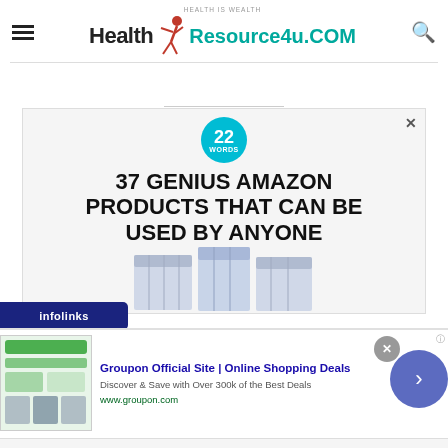Health Resource4u.COM — Health is Wealth
[Figure (advertisement): 22 Words badge with heading: 37 GENIUS AMAZON PRODUCTS THAT CAN BE USED BY ANYONE, with product packages image]
[Figure (logo): infolinks logo bar]
[Figure (advertisement): Groupon Official Site | Online Shopping Deals — Discover & Save with Over 300k of the Best Deals — www.groupon.com]